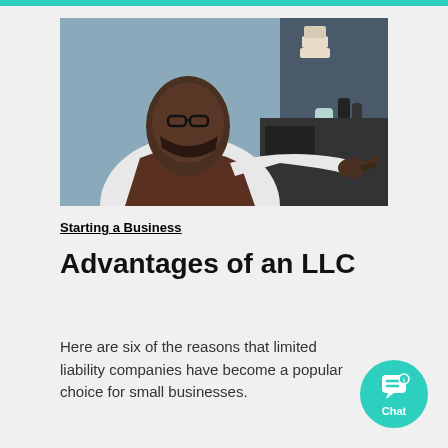[Figure (photo): A Black man wearing glasses and a brown apron, reaching toward an espresso machine in a cafe setting. He is dressed in a white long-sleeve shirt and appears to be operating equipment behind a counter.]
Starting a Business
Advantages of an LLC
Here are six of the reasons that limited liability companies have become a popular choice for small businesses.